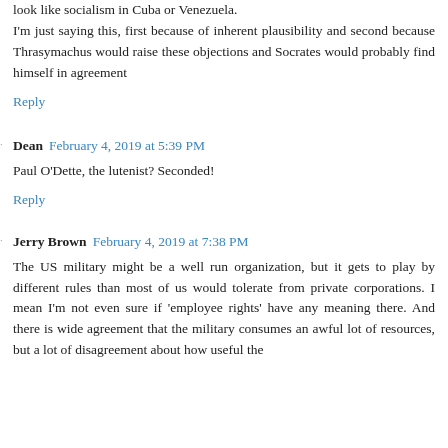look like socialism in Cuba or Venezuela. I'm just saying this, first because of inherent plausibility and second because Thrasymachus would raise these objections and Socrates would probably find himself in agreement
Reply
Dean  February 4, 2019 at 5:39 PM
Paul O'Dette, the lutenist? Seconded!
Reply
Jerry Brown  February 4, 2019 at 7:38 PM
The US military might be a well run organization, but it gets to play by different rules than most of us would tolerate from private corporations. I mean I'm not even sure if 'employee rights' have any meaning there. And there is wide agreement that the military consumes an awful lot of resources, but a lot of disagreement about how useful the